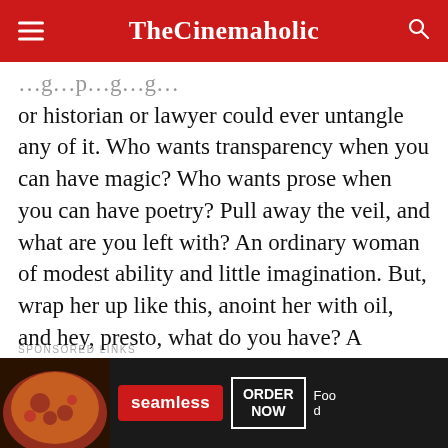TheCinemaholic
or historian or lawyer could ever untangle any of it. Who wants transparency when you can have magic? Who wants prose when you can have poetry? Pull away the veil, and what are you left with? An ordinary woman of modest ability and little imagination. But, wrap her up like this, anoint her with oil, and hey, presto, what do you have? A Goddess.”
SPONSORED LINKS
[Figure (screenshot): Seamless food delivery advertisement with pizza image, seamless logo in red, ORDER NOW button in white border, on dark background]